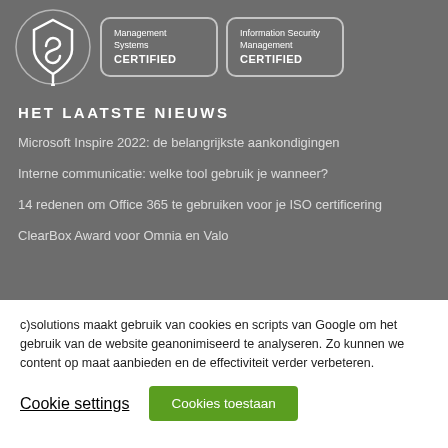[Figure (logo): Certification badges: Management Systems CERTIFIED and Information Security Management CERTIFIED logos with a shield/checkmark logo]
HET LAATSTE NIEUWS
Microsoft Inspire 2022: de belangrijkste aankondigingen
Interne communicatie: welke tool gebruik je wanneer?
14 redenen om Office 365 te gebruiken voor je ISO certificering
ClearBox Award voor Omnia en Valo
c)solutions maakt gebruik van cookies en scripts van Google om het gebruik van de website geanonimiseerd te analyseren. Zo kunnen we content op maat aanbieden en de effectiviteit verder verbeteren.
Cookie settings | Cookies toestaan